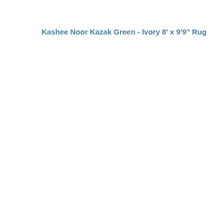Kashee Noor Kazak Green - Ivory 8' x 9'9" Rug